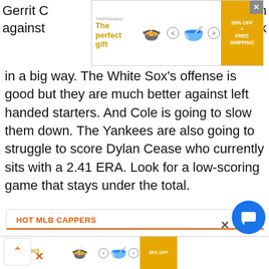[Figure (screenshot): Advertisement banner: 'The perfect gift' with food product image, navigation arrows, and 35% OFF + FREE SHIPPING offer]
Gerrit C[ole pitching again against...] back in a big way. The White Sox's offense is good but they are much better against left handed starters. And Cole is going to slow them down. The Yankees are also going to struggle to score Dylan Cease who currently sits with a 2.41 ERA. Look for a low-scoring game that stays under the total.
HOT MLB CAPPERS
James Clark
W197/L156 +3,144 Units
Tony Tellez
W202... +1,631...
[Figure (screenshot): Bottom advertisement banner repeat: 'The perfect gift' with 35% OFF offer]